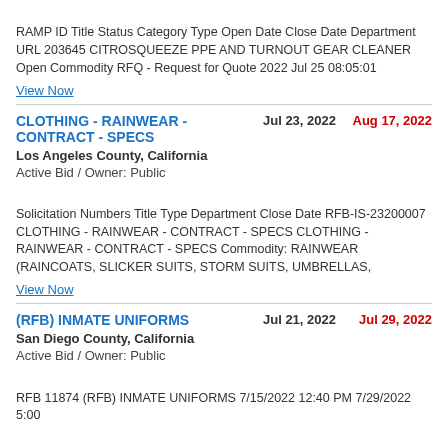RAMP ID Title Status Category Type Open Date Close Date Department URL 203645 CITROSQUEEZE PPE AND TURNOUT GEAR CLEANER Open Commodity RFQ - Request for Quote 2022 Jul 25 08:05:01
View Now
CLOTHING - RAINWEAR - CONTRACT - SPECS
Jul 23, 2022
Aug 17, 2022
Los Angeles County, California
Active Bid / Owner: Public
Solicitation Numbers Title Type Department Close Date RFB-IS-23200007 CLOTHING - RAINWEAR - CONTRACT - SPECS CLOTHING - RAINWEAR - CONTRACT - SPECS Commodity: RAINWEAR (RAINCOATS, SLICKER SUITS, STORM SUITS, UMBRELLAS,
View Now
(RFB) INMATE UNIFORMS
Jul 21, 2022
Jul 29, 2022
San Diego County, California
Active Bid / Owner: Public
RFB 11874 (RFB) INMATE UNIFORMS 7/15/2022 12:40 PM 7/29/2022 5:00